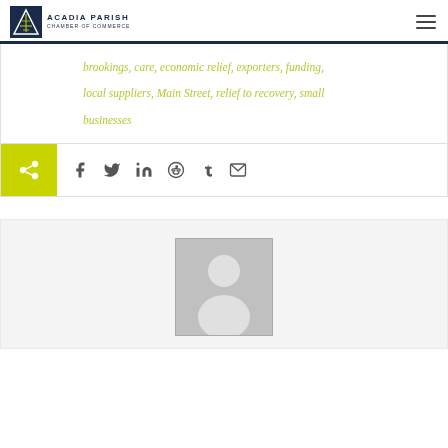ACADIA PARISH CHAMBER OF COMMERCE
brookings, care, economic relief, exporters, funding, local suppliers, Main Street, relief to recovery, small businesses
[Figure (infographic): Social share bar with share button icon and social media icons: Facebook, Twitter, LinkedIn, Reddit, Tumblr, Email]
[Figure (photo): Default user profile placeholder image showing silhouette of a person on grey background]